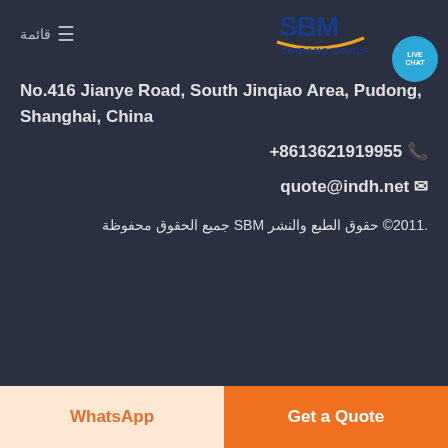[Figure (logo): SBM Shibang Group logo with blue letters and orange arc]
قائمة
No.416 Jianye Road, South Jinqiao Area, Pudong, Shanghai, China
+8613621919955 📞
quote@indh.net ✉
.2011© حقوق الطبع والنشر SBM جميع الحقوق محفوظة
WhatsApp
Get a Quote